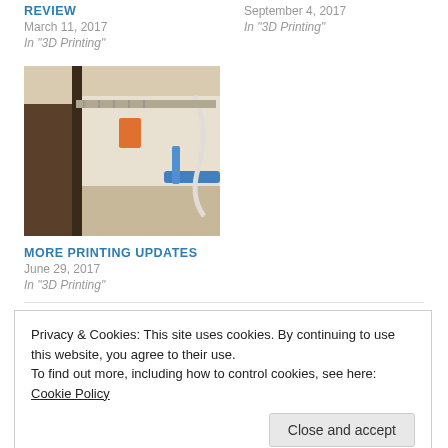REVIEW
March 11, 2017
In "3D Printing"
September 4, 2017
In "3D Printing"
[Figure (photo): Photo of a 3D printer bed/frame area with orange and blue tape/clips visible]
MORE PRINTING UPDATES
June 29, 2017
In "3D Printing"
May 18, 2017 · 2 Comments
Privacy & Cookies: This site uses cookies. By continuing to use this website, you agree to their use.
To find out more, including how to control cookies, see here: Cookie Policy
Close and accept
REVIEW UPDATE"